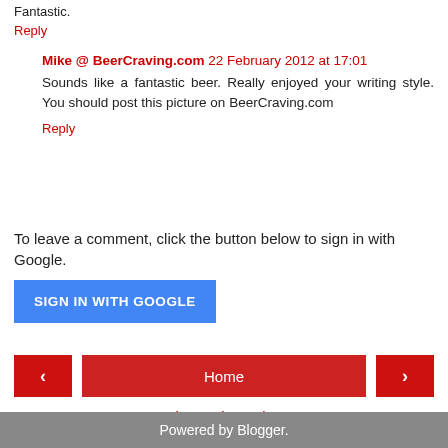Fantastic.
Reply
Mike @ BeerCraving.com  22 February 2012 at 17:01
Sounds like a fantastic beer. Really enjoyed your writing style. You should post this picture on BeerCraving.com
Reply
To leave a comment, click the button below to sign in with Google.
SIGN IN WITH GOOGLE
Home
View web version
Powered by Blogger.